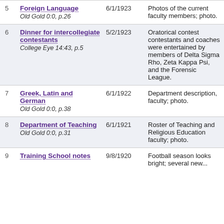| # | Item | Date | Description |
| --- | --- | --- | --- |
| 5 | Foreign Language
Old Gold 0:0, p.26 | 6/1/1923 | Photos of the current faculty members; photo. |
| 6 | Dinner for intercollegiate contestants
College Eye 14:43, p.5 | 5/2/1923 | Oratorical contest contestants and coaches were entertained by members of Delta Sigma Rho, Zeta Kappa Psi, and the Forensic League. |
| 7 | Greek, Latin and German
Old Gold 0:0, p.38 | 6/1/1922 | Department description, faculty; photo. |
| 8 | Department of Teaching
Old Gold 0:0, p.31 | 6/1/1921 | Roster of Teaching and Religious Education faculty; photo. |
| 9 | Training School notes | 9/8/1920 | Football season looks bright; several new... |